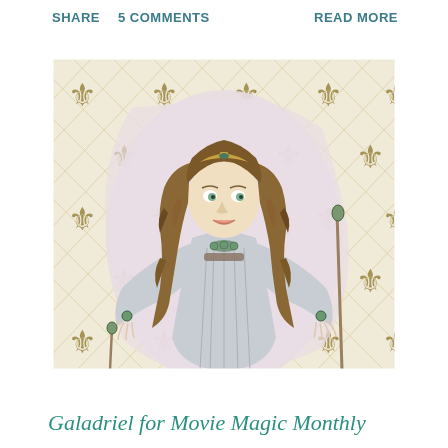SHARE   5 COMMENTS                    READ MORE
[Figure (illustration): Watercolor/marker illustration of Galadriel, an elf woman with long curly brown hair, pointed ears, a tiara, and flowing grey robes with green jeweled accessories. She stands with arms outstretched, set against a cream background with golden fleur-de-lis diamond lattice pattern.]
Galadriel for Movie Magic Monthly